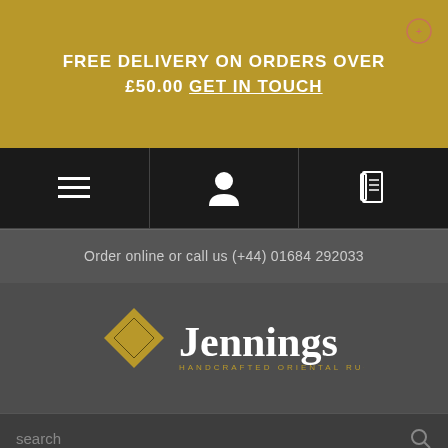FREE DELIVERY ON ORDERS OVER £50.00 GET IN TOUCH
[Figure (logo): Jennings Handcrafted Oriental Rugs logo with diamond shape and text]
Order online or call us (+44) 01684 292033
search
home > handmade turkish kilim cushion - 307204